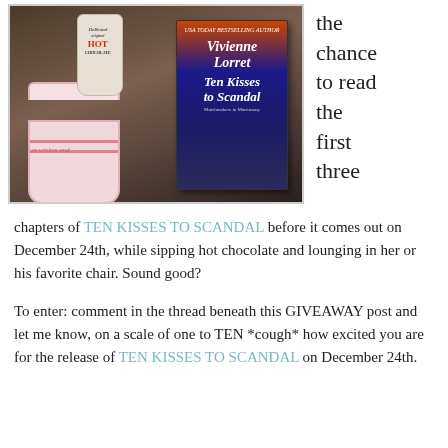[Figure (photo): Photo of a pink mug, a DeBrand original Hot Chocolate packet, and the book 'Ten Kisses to Scandal' by Vivienne Lorret standing on a dark surface.]
the chance to read the first three
chapters of TEN KISSES TO SCANDAL before it comes out on December 24th, while sipping hot chocolate and lounging in her or his favorite chair. Sound good?
To enter: comment in the thread beneath this GIVEAWAY post and let me know, on a scale of one to TEN *cough* how excited you are for the release of TEN KISSES TO SCANDAL on December 24th.